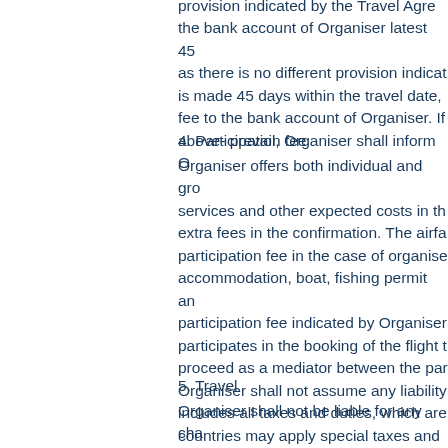provision indicated by the Travel Agre the bank account of Organiser latest 45 as there is no different provision indica is made 45 days within the travel date, fee to the bank account of Organiser. If above- prevail, Organiser shall inform O
4. Participation fee
Organiser offers both individual and gro services and other expected costs in th extra fees in the confirmation. The airfa participation fee in the case of organise accommodation, boat, fishing permit an participation fee indicated by Organiser participates in the booking of the flight t proceed as a mediator between the par Organiser shall not assume any liability includes all taxes and duties, which are countries may apply special taxes and c relation to such incidental charges Cust payment claim against Organiser.
5. Travel
Organiser shall not be liable for any cha is the obligation of Customer to confirm airline during the trip, and during the co